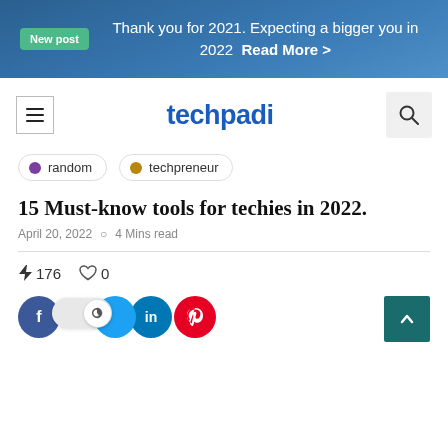New post  Thank you for 2021. Expecting a bigger you in 2022  Read More >
[Figure (logo): techpadi logo with hamburger menu and search icon]
random
techpreneur
15 Must-know tools for techies in 2022.
April 20, 2022   4 Mins read
⚡ 176   ♡ 0